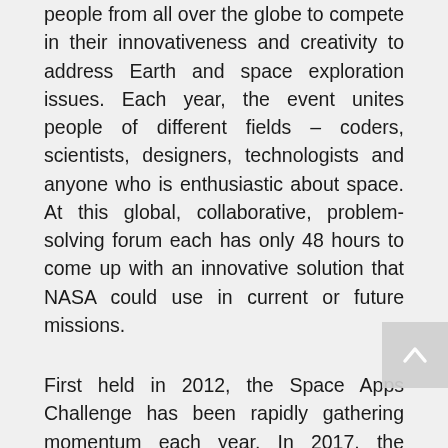people from all over the globe to compete in their innovativeness and creativity to address Earth and space exploration issues. Each year, the event unites people of different fields – coders, scientists, designers, technologists and anyone who is enthusiastic about space. At this global, collaborative, problem-solving forum each has only 48 hours to come up with an innovative solution that NASA could use in current or future missions.
First held in 2012, the Space Apps Challenge has been rapidly gathering momentum each year. In 2017, the challenge covered 69 countries with 187 different host locations and involved 25 000 participants. Such high public interest in the space exploration theme is fueled by the prizes and awards. This year, winners will be invited to a